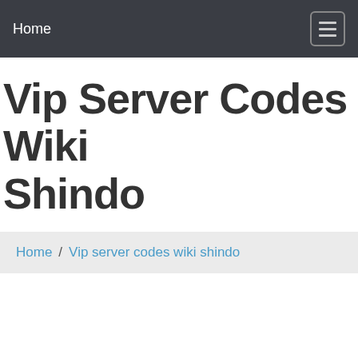Home
Vip Server Codes Wiki Shindo
Home / Vip server codes wiki shindo